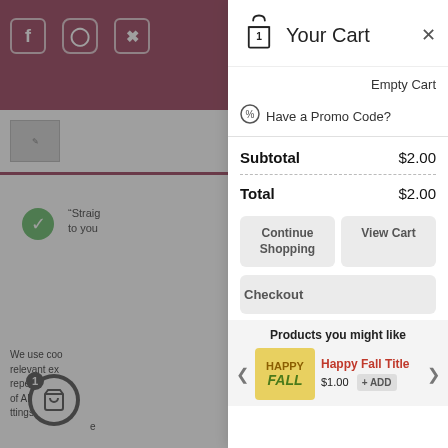[Figure (screenshot): Background website screenshot showing a dark-overlaid webpage with a maroon header, social icons, and cookie notice text partially visible on the left side]
Your Cart
Empty Cart
Have a Promo Code?
| Subtotal | $2.00 |
| Total | $2.00 |
Continue Shopping
View Cart
Checkout
Products you might like
Happy Fall Title
$1.00
+ ADD